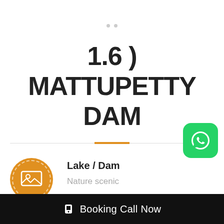1.6 ) MATTUPETTY DAM
Lake / Dam
Nature scenic
Timings
[Figure (logo): WhatsApp logo button (green rounded square with white phone handset icon)]
Booking Call Now